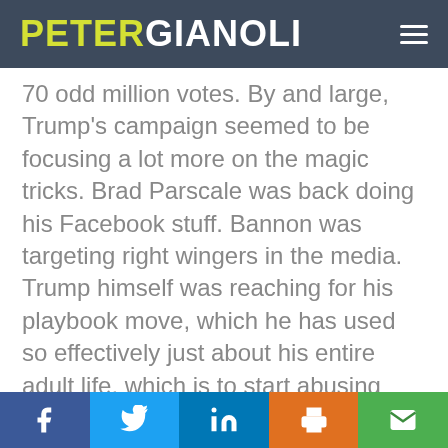PETER GIANOLI
70 odd million votes. By and large, Trump's campaign seemed to be focusing a lot more on the magic tricks. Brad Parscale was back doing his Facebook stuff. Bannon was targeting right wingers in the media. Trump himself was reaching for his playbook move, which he has used so effectively just about his entire adult life, which is to start abusing people and picking fights. Prior to Hillary it was Rosie O'Donnell and that got him heaps of free publicity and a platform. This time it was anybody he could
f  [Twitter]  in  [print]  [email]